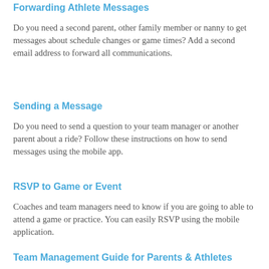Forwarding Athlete Messages
Do you need a second parent, other family member or nanny to get messages about schedule changes or game times? Add a second email address to forward all communications.
Sending a Message
Do you need to send a question to your team manager or another parent about a ride? Follow these instructions on how to send messages using the mobile app.
RSVP to Game or Event
Coaches and team managers need to know if you are going to able to attend a game or practice. You can easily RSVP using the mobile application.
Team Management Guide for Parents & Athletes